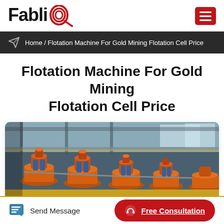FabliQ
Home / Flotation Machine For Gold Mining Flotation Cell Price
Flotation Machine For Gold Mining Flotation Cell Price
[Figure (photo): Industrial flotation machines with orange cylindrical impeller mechanisms in a factory setting]
Send Message
Free Consultation